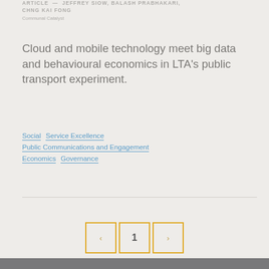ARTICLE — JEFFREY SIOW, BALASH PRABHAKARI, CHNG KAI FONG
Communal Catalyst
Cloud and mobile technology meet big data and behavioural economics in LTA's public transport experiment.
Social
Service Excellence
Public Communications and Engagement
Economics
Governance
[Figure (other): Pagination controls showing previous arrow button, page 1 button, and next arrow button, all with yellow/gold borders]